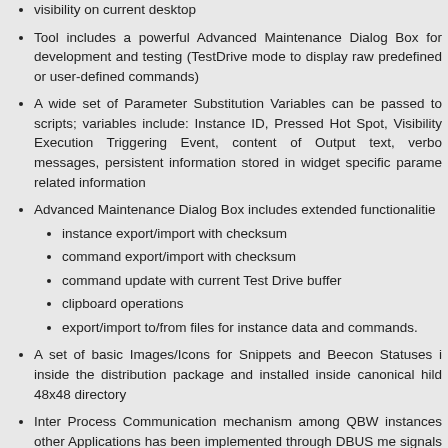visibility on current desktop
Tool includes a powerful Advanced Maintenance Dialog Box for development and testing (TestDrive mode to display raw predefined or user-defined commands)
A wide set of Parameter Substitution Variables can be passed to scripts; variables include: Instance ID, Pressed Hot Spot, Visibility Execution Triggering Event, content of Output text, verbose messages, persistent information stored in widget specific parameters related information
Advanced Maintenance Dialog Box includes extended functionalities
instance export/import with checksum
command export/import with checksum
command update with current Test Drive buffer
clipboard operations
export/import to/from files for instance data and commands.
A set of basic Images/Icons for Snippets and Beecon Statuses inside the distribution package and installed inside canonical hicolor 48x48 directory
Inter Process Communication mechanism among QBW instances other Applications has been implemented through DBUS methods signals handling.